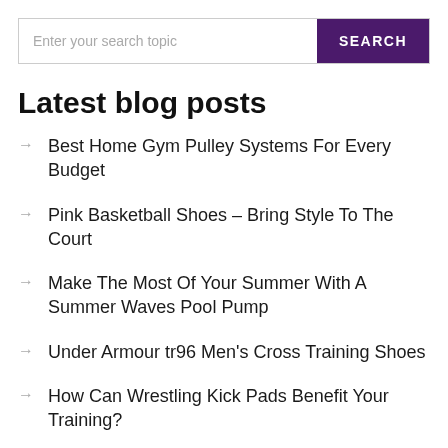Enter your search topic | SEARCH
Latest blog posts
Best Home Gym Pulley Systems For Every Budget
Pink Basketball Shoes – Bring Style To The Court
Make The Most Of Your Summer With A Summer Waves Pool Pump
Under Armour tr96 Men's Cross Training Shoes
How Can Wrestling Kick Pads Benefit Your Training?